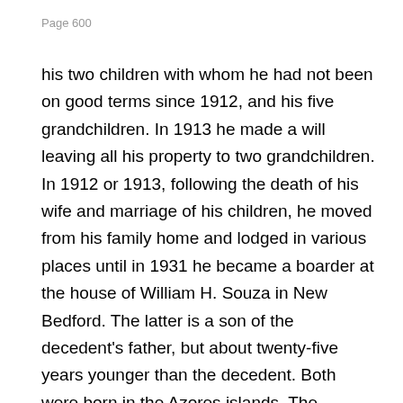Page 600
his two children with whom he had not been on good terms since 1912, and his five grandchildren. In 1913 he made a will leaving all his property to two grandchildren. In 1912 or 1913, following the death of his wife and marriage of his children, he moved from his family home and lodged in various places until in 1931 he became a boarder at the house of William H. Souza in New Bedford. The latter is a son of the decedent's father, but about twenty-five years younger than the decedent. Both were born in the Azores islands. The decedent, through William H. Tripp, a bank employee and friend on whom he depended for business advice, was in 1931 referred to the other proponent, a lawyer, who, after some conferences with